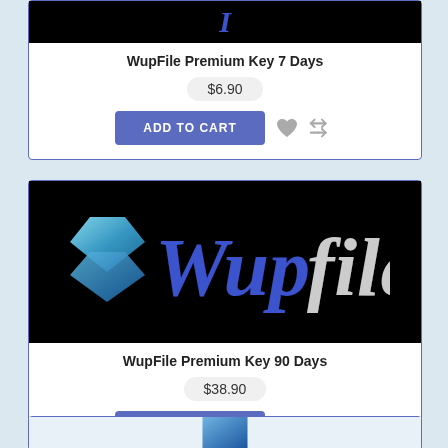[Figure (screenshot): Partial product card top image on black background with blue italic letter]
WupFile Premium Key 7 Days
$6.90
ADD TO CART
[Figure (logo): Wupfile logo on black background: teal chevron icon and Wupfile text with blue and silver gradient]
WupFile Premium Key 90 Days
$38.90
ADD TO CART
[Figure (screenshot): Partial product card bottom — blue box shape visible at bottom of page]